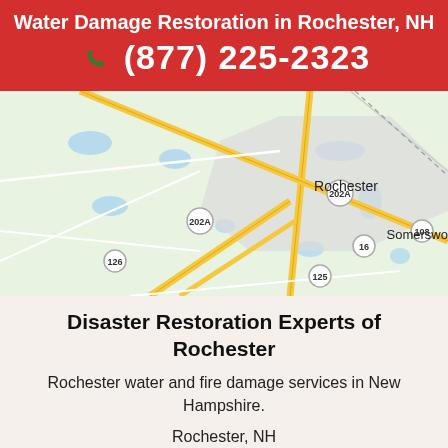Water Damage Restoration in Rochester, NH
(877) 225-2323
[Figure (map): Google Maps view of Rochester, NH area showing roads, highways 202A, 125, 126, 16, 108, and labels for Rochester and Somersworth, with state border label NEW HAMPSHIRE / MAINE]
Disaster Restoration Experts of Rochester
Rochester water and fire damage services in New Hampshire.
Rochester, NH